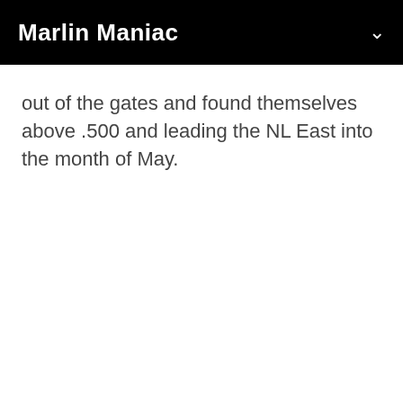Marlin Maniac
out of the gates and found themselves above .500 and leading the NL East into the month of May.